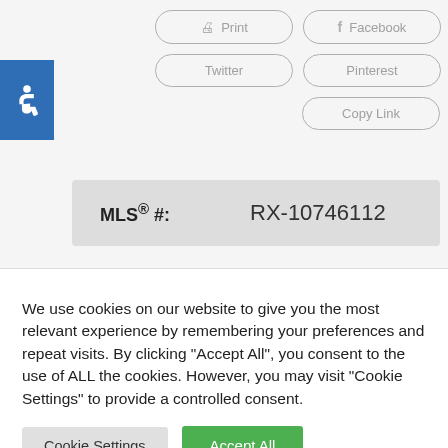[Figure (other): Accessibility icon button (wheelchair symbol) in blue square]
Print
Facebook
Twitter
Pinterest
Copy Link
| MLS® #: | RX-10746112 |
| --- | --- |
We use cookies on our website to give you the most relevant experience by remembering your preferences and repeat visits. By clicking "Accept All", you consent to the use of ALL the cookies. However, you may visit "Cookie Settings" to provide a controlled consent.
Cookie Settings
Accept All